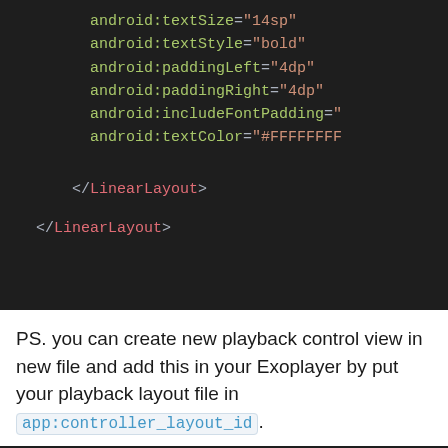[Figure (screenshot): Dark-themed Android XML code block showing attributes: android:textSize="14sp", android:textStyle="bold", android:paddingLeft="4dp", android:paddingRight="4dp", android:includeFontPadding="(truncated)", android:textColor="#FFFFFFFF (truncated)", then </LinearLayout> and </LinearLayout> closing tags.]
PS. you can create new playback control view in new file and add this in your Exoplayer by put your playback layout file in app:controller_layout_id.
[Figure (screenshot): Dark-themed Android code block showing partial text: 'roid.exoplayer2.ui.Simple' (truncated from left)]